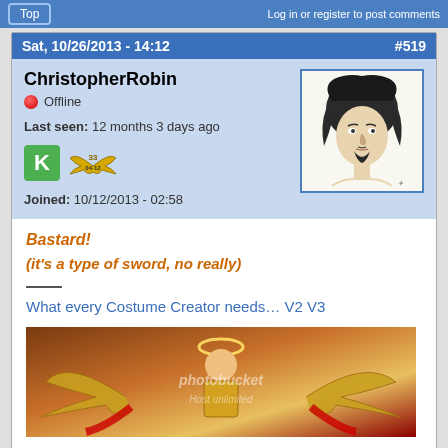Top | Login or register to post comments
Sat, 10/26/2013 - 14:12   #519
ChristopherRobin
Offline
Last seen: 12 months 3 days ago
Joined: 10/12/2013 - 02:58
[Figure (illustration): Pencil sketch portrait of a man with long dark curly hair and a goatee beard]
Bastard!
(it's a type of sword, no really)
What every Costume Creator needs… V2 V3
[Figure (illustration): Fantasy character with golden armor and wings, photobucket watermark visible]